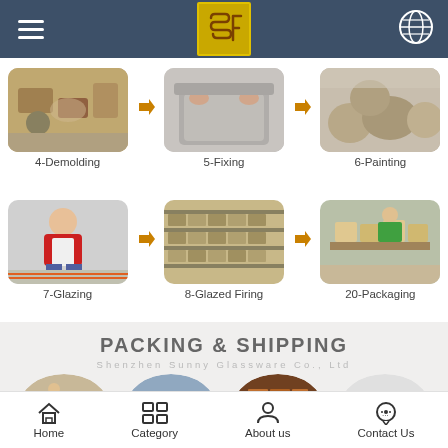SF logo header with hamburger menu and globe icon
[Figure (photo): 4-Demolding: worker handling molds in a workshop]
4-Demolding
[Figure (photo): 5-Fixing: hands working on grey ceramic tray]
5-Fixing
[Figure (photo): 6-Painting: ceramic plates being painted]
6-Painting
[Figure (photo): 7-Glazing: worker in red shirt glazing ceramics]
7-Glazing
[Figure (photo): 8-Glazed Firing: shelves of ceramics in kiln]
8-Glazed Firing
[Figure (photo): 20-Packaging: workers packing ceramic products]
20-Packaging
PACKING & SHIPPING
Shenzhen Sunny Glassware Co., Ltd
[Figure (photo): Packing process circular images: wrapping, bubble wrap, stacked boxes, truck]
Home | Category | About us | Contact Us